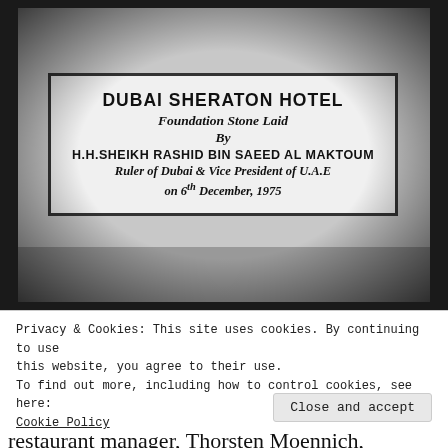[Figure (photo): Black and white photograph of a foundation stone plaque reading: DUBAI SHERATON HOTEL / Foundation Stone Laid / By / H.H. SHEIKH RASHID BIN SAEED AL MAKTOUM / Ruler of Dubai & Vice President of U.A.E / on 6th December, 1975]
Privacy & Cookies: This site uses cookies. By continuing to use this website, you agree to their use.
To find out more, including how to control cookies, see here: Cookie Policy
Close and accept
restaurant manager, Thorsten Moennich,